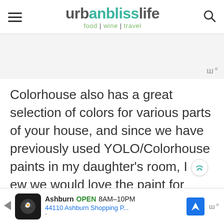urbanblisslife — food | wine | travel
[Figure (other): Gray advertisement placeholder area with audiomack-style wordmark in corner]
Colorhouse also has a great selection of colors for various parts of your house, and since we have previously used YOLO/Colorhouse paints in my daughter's room, I knew we would love the paint for our DIY holiday decorating...
[Figure (other): Bottom ad banner: Ashburn OPEN 8AM-10PM, 44110 Ashburn Shopping P..., with navigation arrow icon and audiomack wordmark]